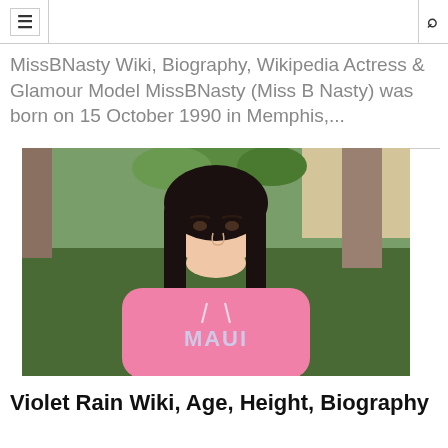☰ [nav bar] 🔍
MissBNasty Wiki, Biography, Wikipedia Actress & Glamour Model MissBNasty (Miss B Nasty) was born on 15 October 1990 in Memphis,...
[Figure (photo): Young woman with long dark hair wearing a pink Maui hoodie, seated on a green bench with tropical plants and columns in the background]
Violet Rain Wiki, Age, Height, Biography